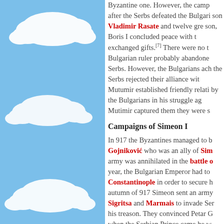[Figure (illustration): Blue sky background with white cloud illustrations on the left panel]
Byzantine one. However, the camp after the Serbs defeated the Bulgari son Vladimir Rasate and twelve gre son, Boris I concluded peace with t exchanged gifts.[7] There were no t Bulgarian ruler probably abandone Serbs. However, the Bulgarians ach the Serbs rejected their alliance wit Mutumir established friendly relati by the Bulgarians in his struggle ag Mutimir captured them they were s
Campaigns of Simeon I
In 917 the Byzantines managed to b Gojniković who was an ally of Sim army was annihilated in the battle o year, the Bulgarian Emperor had to Constantinople in order to secure h autumn of 917 Simeon sent an army Sigritsa and Marmais to invade Ser his treason. They convinced Petar G when the Serbian Prince came he w Preslav where he died in prison. Th cousin Pavle Branović who was un place.[9][10]